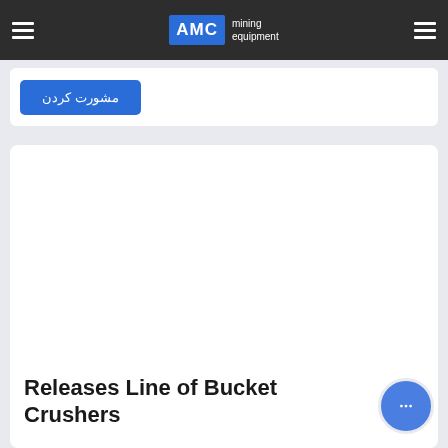AMC mining equipment
مشورت کردن
[Figure (screenshot): Large white content card area, mostly blank/empty, part of a webpage layout]
Releases Line of Bucket Crushers